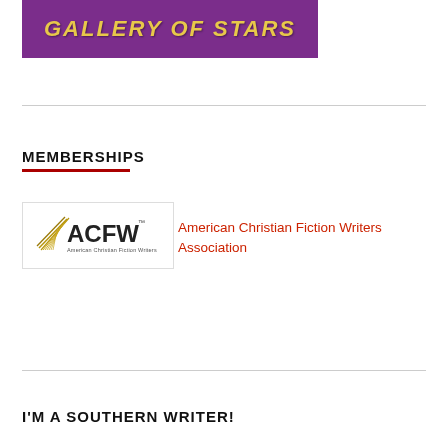[Figure (logo): Purple banner with yellow italic bold text reading 'GALLERY OF STARS']
MEMBERSHIPS
[Figure (logo): ACFW American Christian Fiction Writers logo — gold feather quill with ACFW lettering and tagline 'American Christian Fiction Writers']
American Christian Fiction Writers Association
I'M A SOUTHERN WRITER!